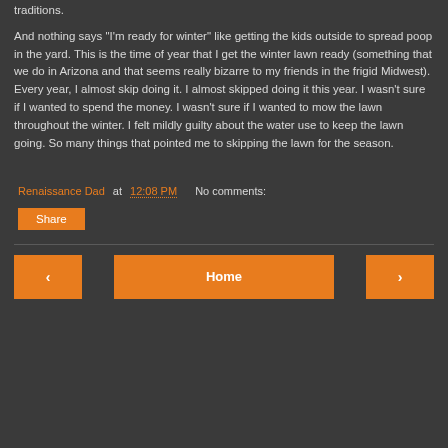traditions.
And nothing says "I'm ready for winter" like getting the kids outside to spread poop in the yard. This is the time of year that I get the winter lawn ready (something that we do in Arizona and that seems really bizarre to my friends in the frigid Midwest). Every year, I almost skip doing it. I almost skipped doing it this year. I wasn't sure if I wanted to spend the money. I wasn't sure if I wanted to mow the lawn throughout the winter. I felt mildly guilty about the water use to keep the lawn going. So many things that pointed me to skipping the lawn for the season.
Renaissance Dad at 12:08 PM   No comments:
Share